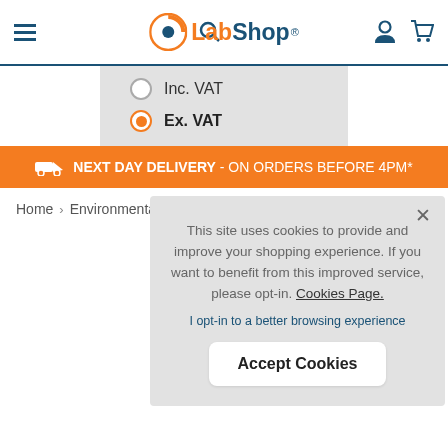LabShop – navigation header with menu, search, account, and cart icons
Inc. VAT
Ex. VAT
NEXT DAY DELIVERY - ON ORDERS BEFORE 4PM*
Home › Environmental Testing › Test Kits
This site uses cookies to provide and improve your shopping experience. If you want to benefit from this improved service, please opt-in. Cookies Page.
I opt-in to a better browsing experience
Accept Cookies